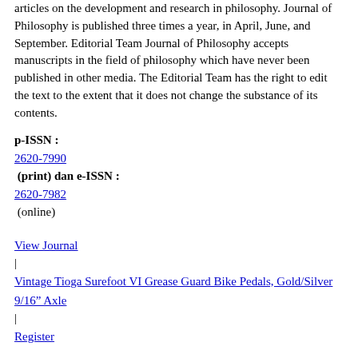articles on the development and research in philosophy. Journal of Philosophy is published three times a year, in April, June, and September. Editorial Team Journal of Philosophy accepts manuscripts in the field of philosophy which have never been published in other media. The Editorial Team has the right to edit the text to the extent that it does not change the substance of its contents.
p-ISSN : 2620-7990 (print) dan e-ISSN : 2620-7982 (online)
View Journal | Vintage Tioga Surefoot VI Grease Guard Bike Pedals, Gold/Silver 9/16" Axle | Register
Indonesian Journal Of Educational Research and Review